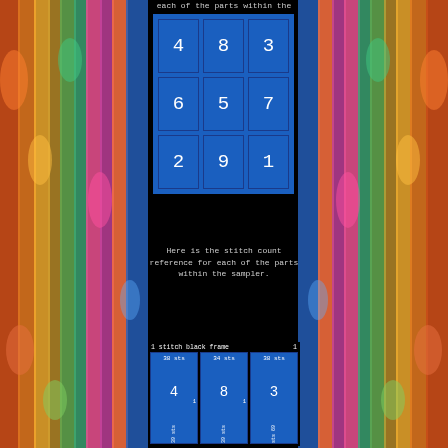each of the parts within the sampler.
[Figure (other): 3x3 blue grid with numbers 4, 8, 3, 6, 5, 7, 2, 9, 1 in white on blue squares]
Here is the stitch count reference for each of the parts within the sampler.
| 1 stitch black frame | 1 |
| --- | --- |
| 38 sts | 34 sts | 38 sts |
| 4 | 8 | 3 |